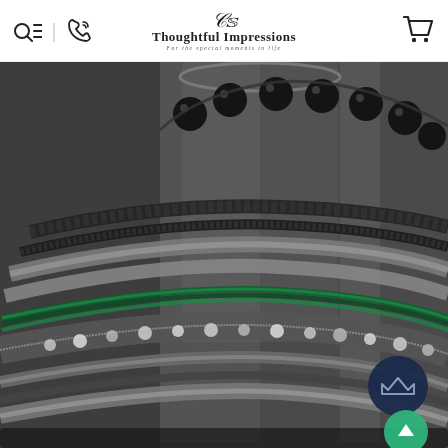Thoughtful Impressions - For the special moments in life
[Figure (photo): Close-up photograph of decorative bangles and bracelets stacked around a glass cylinder vase. The bangles include dark braided rope styles, green glitter bangles, silver metal bangles, and jeweled bangles with rhinestones. Black spherical beads are visible at the top around the glass cylinder. The background is dark grey. Two circular buttons overlay the lower right: a dark navy crown icon button and a teal/green upward arrow button.]